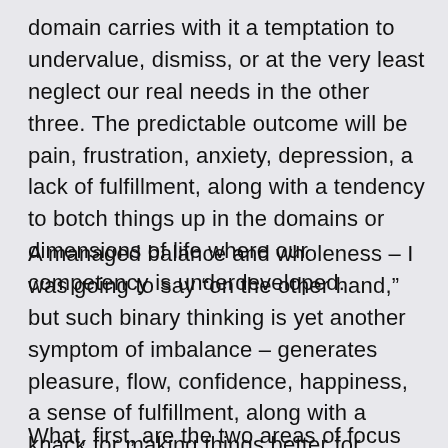domain carries with it a temptation to undervalue, dismiss, or at the very least neglect our real needs in the other three. The predictable outcome will be pain, frustration, anxiety, depression, a lack of fulfillment, along with a tendency to botch things up in the domains or dimensions of life where our competency is underdeveloped.
A managed balance and wholeness – I was going to say “on the other hand,” but such binary thinking is yet another symptom of imbalance – generates pleasure, flow, confidence, happiness, a sense of fulfillment, along with a knack for making things better for ourselves and others around us.
What, first, are the two areas of focus and...